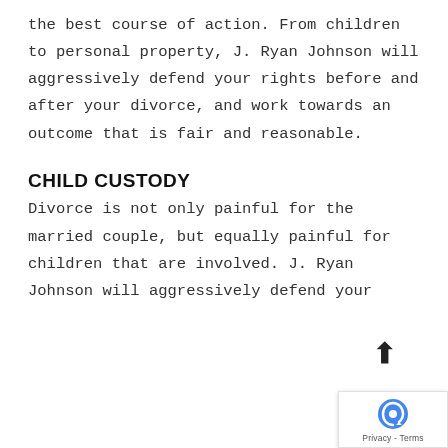the best course of action. From children to personal property, J. Ryan Johnson will aggressively defend your rights before and after your divorce, and work towards an outcome that is fair and reasonable.
CHILD CUSTODY
Divorce is not only painful for the married couple, but equally painful for children that are involved. J. Ryan Johnson will aggressively defend your